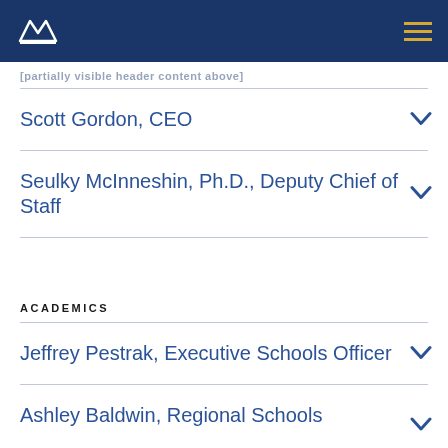Navigation bar with logo and menu
[partial header text - truncated]
Scott Gordon, CEO
Seulky McInneshin, Ph.D., Deputy Chief of Staff
ACADEMICS
Jeffrey Pestrak, Executive Schools Officer
Ashley Baldwin, Regional Schools